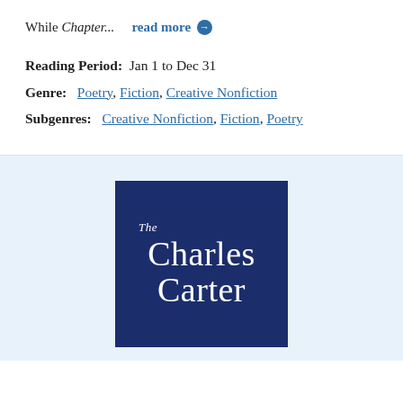While Chapter...  read more →
Reading Period:  Jan 1 to Dec 31
Genre:  Poetry, Fiction, Creative Nonfiction
Subgenres:  Creative Nonfiction, Fiction, Poetry
[Figure (logo): The Charles Carter logo — white serif text on a dark navy blue square background, reading 'The Charles Carter']